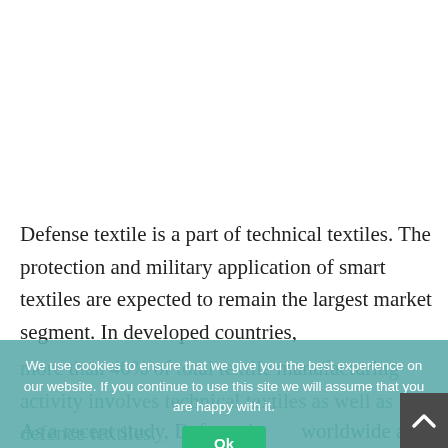Defense textile is a part of technical textiles. The protection and military application of smart textiles are expected to remain the largest market segment. In developed countries, more than 40% of total textile manufacturing activity involves technical textiles as well as defence textiles.
As a recent study, Defense b worldwide are spending more than 1600 billion USD every year for their